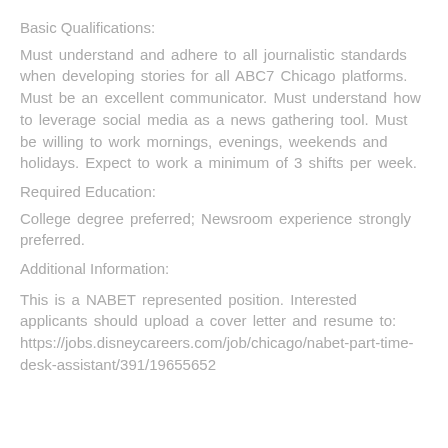Basic Qualifications:
Must understand and adhere to all journalistic standards when developing stories for all ABC7 Chicago platforms. Must be an excellent communicator. Must understand how to leverage social media as a news gathering tool. Must be willing to work mornings, evenings, weekends and holidays. Expect to work a minimum of 3 shifts per week.
Required Education:
College degree preferred; Newsroom experience strongly preferred.
Additional Information:
This is a NABET represented position. Interested applicants should upload a cover letter and resume to: https://jobs.disneycareers.com/job/chicago/nabet-part-time-desk-assistant/391/19655652